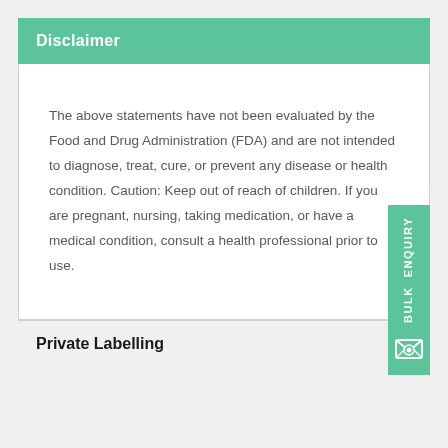Disclaimer
The above statements have not been evaluated by the Food and Drug Administration (FDA) and are not intended to diagnose, treat, cure, or prevent any disease or health condition. Caution: Keep out of reach of children. If you are pregnant, nursing, taking medication, or have a medical condition, consult a health professional prior to use.
Private Labelling